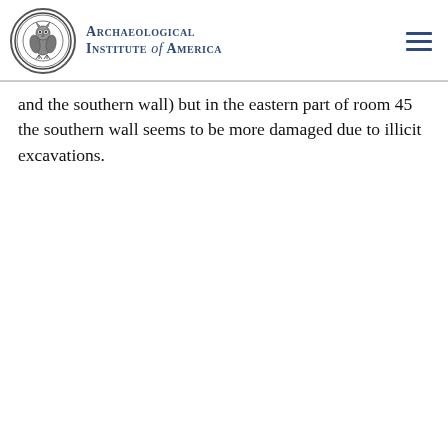Archaeological Institute of America
and the southern wall) but in the eastern part of room 45 the southern wall seems to be more damaged due to illicit excavations.